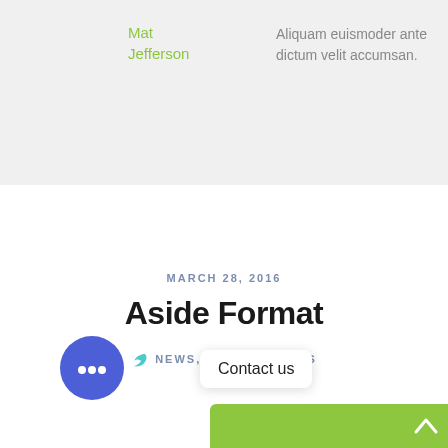Mat Jefferson — Aliquam euismoder ante dictum velit accumsan.
MARCH 28, 2016
Aside Format
NEWS, POST FORMATS
Contact us